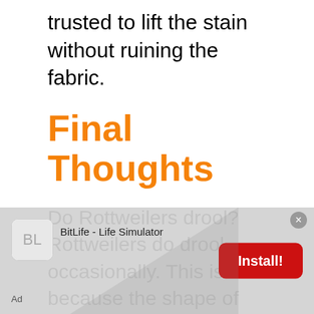trusted to lift the stain without ruining the fabric.
Final Thoughts
Do Rottweilers drool? Rottweilers do drool occasionally. This is because the shape of their heads causes them to have medium-sized jowls. How much a dog drools all depends on the size of its jowls. A good way to tell how
[Figure (other): Ad overlay for BitLife - Life Simulator app with Install! button]